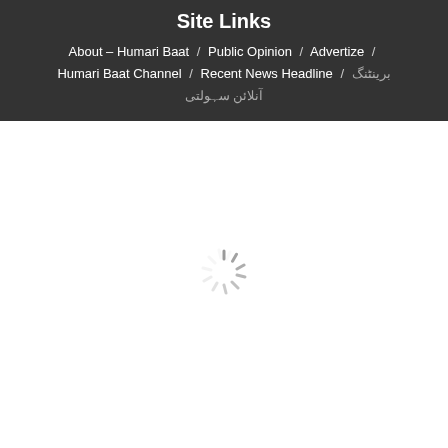Site Links
About – Humari Baat / Public Opinion / Advertize / Humari Baat Channel / Recent News Headline / ██████ ██████ ██████
[Figure (other): Loading spinner (circular spinner animation) centered on white background]